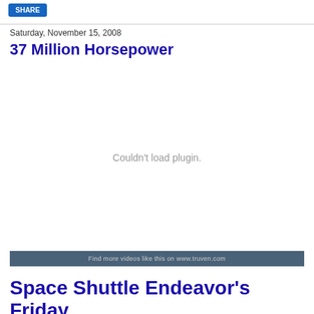SHARE
Saturday, November 15, 2008
37 Million Horsepower
[Figure (other): Embedded video plugin area showing 'Couldn't load plugin.' message with a dark bar at the bottom reading 'Find more videos like this on www.truven.com']
Space Shuttle Endeavor's Friday